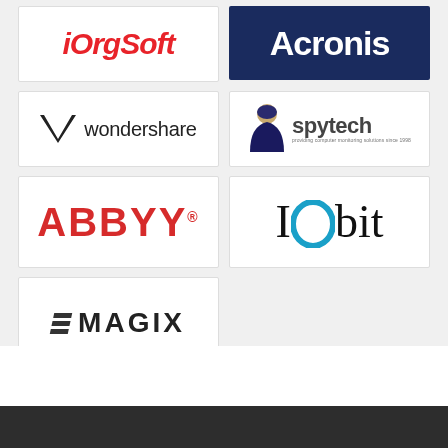[Figure (logo): iOrgSoft logo in red italic bold text]
[Figure (logo): Acronis logo white text on dark navy background]
[Figure (logo): Wondershare logo with double-W chevron icon and text]
[Figure (logo): Spytech logo with hooded figure icon and text, tagline: providing computer monitoring solutions since 1998]
[Figure (logo): ABBYY logo in red bold uppercase letters with registered trademark]
[Figure (logo): IObit logo with I, cyan O, and bit in serif font]
[Figure (logo): MAGIX logo with triple bar slash icon and bold text]